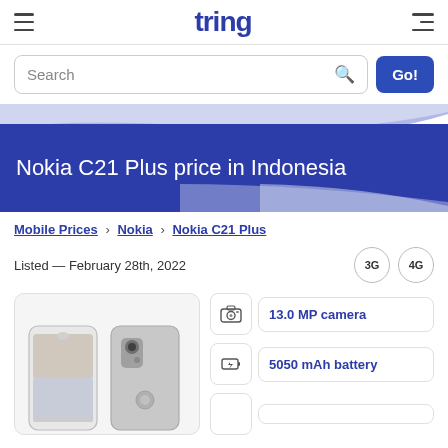tring
Search
Nokia C21 Plus price in Indonesia
Mobile Prices › Nokia › Nokia C21 Plus
Listed — February 28th, 2022
[Figure (photo): Nokia C21 Plus smartphone shown from front and back]
13.0 MP camera
5050 mAh battery